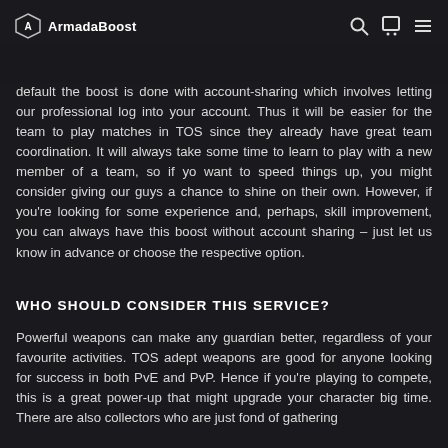ArmadaBoost
default the boost is done with account-sharing which involves letting our professional log into your account. Thus it will be easier for the team to play matches in TOS since they already have great team coordination. It will always take some time to learn to play with a new member of a team, so if yo want to speed things up, you might consider giving our guys a chance to shine on their own. However, if you're looking for some experience and, perhaps, skill improvement, you can always have this boost without account sharing – just let us know in advance or choose the respective option.
WHO SHOULD CONSIDER THIS SERVICE?
Powerful weapons can make any guardian better, regardless of your favourite activities. TOS adept weapons are good for anyone looking for success in both PvE and PvP. Hence if you're playing to compete, this is a great power-up that might upgrade your character big time. There are also collectors who are just fond of gathering